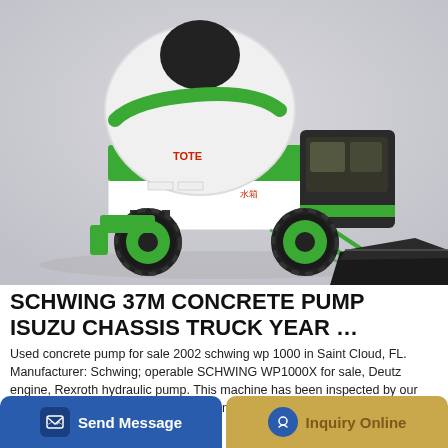[Figure (photo): Green and white self-loading concrete mixer truck with a large black mixing drum, operator cab on the right, and a front-loading bucket/shovel on a metal arm. The truck has large off-road tires with green rims. Background is light gray.]
SCHWING 37M CONCRETE PUMP ISUZU CHASSIS TRUCK YEAR …
Used concrete pump for sale 2002 schwing wp 1000 in Saint Cloud, FL. Manufacturer: Schwing; operable SCHWING WP1000X for sale, Deutz engine, Rexroth hydraulic pump. This machine has been inspected by our techs and its ready to pump concrete, newly …
Send Message
Inquiry Online